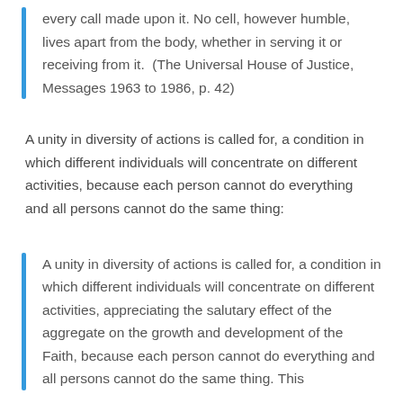every call made upon it. No cell, however humble, lives apart from the body, whether in serving it or receiving from it. (The Universal House of Justice, Messages 1963 to 1986, p. 42)
A unity in diversity of actions is called for, a condition in which different individuals will concentrate on different activities, because each person cannot do everything and all persons cannot do the same thing:
A unity in diversity of actions is called for, a condition in which different individuals will concentrate on different activities, appreciating the salutary effect of the aggregate on the growth and development of the Faith, because each person cannot do everything and all persons cannot do the same thing. This